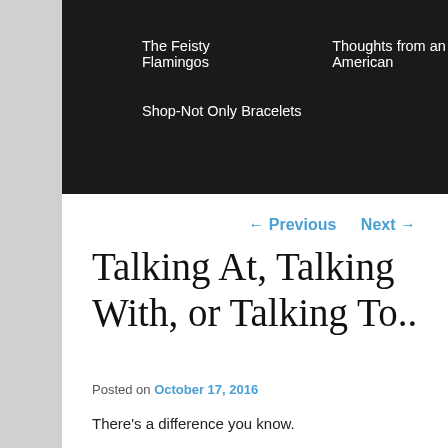The Feisty Flamingos   Thoughts from an American   Shop-Not Only Bracelets
← Previous   Next →
Talking At, Talking With, or Talking To..
Posted on October 17, 2016
There's a difference you know.
It's not what you say, it's how you say it. There's actually an art to having a good conversation.
How often do you think you're talking TO someone when you're actually talking AT them and so on about that